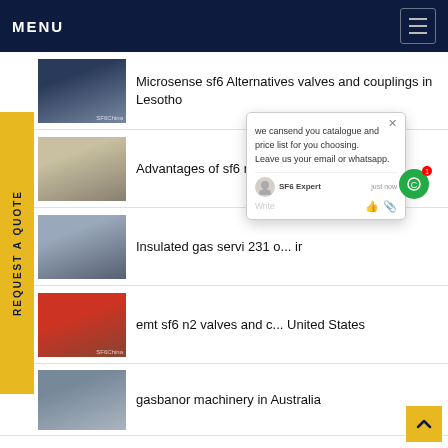MENU
Microsense sf6 Alternatives valves and couplings in Lesotho
Advantages of sf6 mix v... ninica
Insulated gas servi 231 o... ir
emt sf6 n2 valves and c... United States
gasbanor machinery in Australia
[Figure (screenshot): Chat popup with message: we cansend you catalogue and price list for you choosing. Leave us your email or whatsapp. Agent: SF6 Expert, just now.]